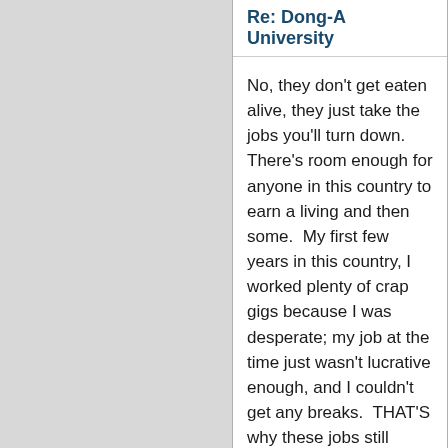Re: Dong-A University
No, they don't get eaten alive, they just take the jobs you'll turn down. There's room enough for anyone in this country to earn a living and then some.  My first few years in this country, I worked plenty of crap gigs because I was desperate; my job at the time just wasn't lucrative enough, and I couldn't get any breaks.  THAT'S why these jobs still exist.
You missed my point entirely--it's very rare for Universities to offer very much more for what amounts to glorified privates, and it's irrelevant how much profit they make versus how much they pay.  When you buy a used car, do you ask the person how much they